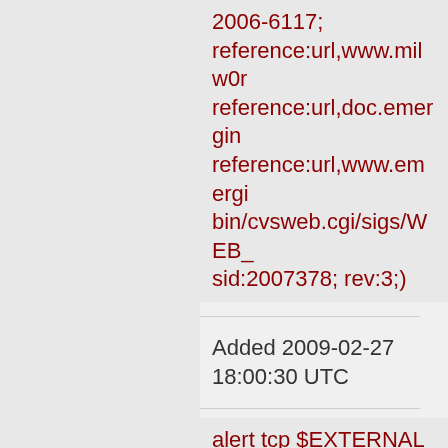2006-6117; reference:url,www.milw0r reference:url,doc.emergin reference:url,www.emergi bin/cvsweb.cgi/sigs/WEB_ sid:2007378; rev:3;)
Added 2009-02-27 18:00:30 UTC
alert tcp $EXTERNAL_NET any -> $HTTP_SERVERS $HTTP_PORTS (msg:"ET WEB_SPECIFIC fipsGallery SQL Injection Attempt -- index1.asp which